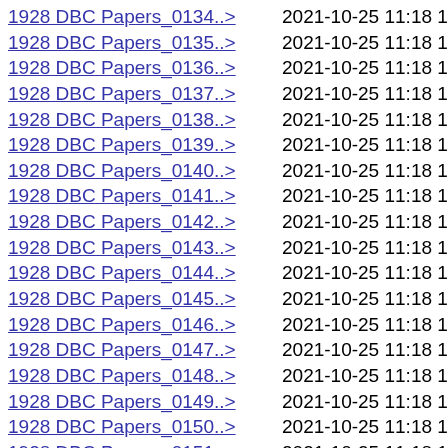1928 DBC Papers_0134..> 2021-10-25 11:18 1.1M
1928 DBC Papers_0135..> 2021-10-25 11:18 1.1M
1928 DBC Papers_0136..> 2021-10-25 11:18 1.6M
1928 DBC Papers_0137..> 2021-10-25 11:18 1.2M
1928 DBC Papers_0138..> 2021-10-25 11:18 1.1M
1928 DBC Papers_0139..> 2021-10-25 11:18 1.7M
1928 DBC Papers_0140..> 2021-10-25 11:18 1.7M
1928 DBC Papers_0141..> 2021-10-25 11:18 1.2M
1928 DBC Papers_0142..> 2021-10-25 11:18 1.2M
1928 DBC Papers_0143..> 2021-10-25 11:18 1.6M
1928 DBC Papers_0144..> 2021-10-25 11:18 1.2M
1928 DBC Papers_0145..> 2021-10-25 11:18 1.2M
1928 DBC Papers_0146..> 2021-10-25 11:18 1.5M
1928 DBC Papers_0147..> 2021-10-25 11:18 1.8M
1928 DBC Papers_0148..> 2021-10-25 11:18 1.3M
1928 DBC Papers_0149..> 2021-10-25 11:18 1.3M
1928 DBC Papers_0150..> 2021-10-25 11:18 1.5M
1928 DBC Papers_0151..> 2021-10-25 11:18 1.7M
1928 DBC Papers_0152..> 2021-10-25 11:18 1.2M
1928 DBC Papers_0153..> 2021-10-25 11:18 1.1M
1928 DBC Papers_0154..> 2021-10-25 11:18 1.6M